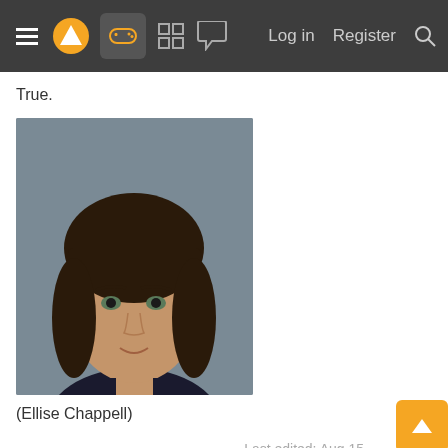Navigation bar with menu, logo, gamepad icon, grid icon, chat icon, Log in, Register, Search
True.
[Figure (photo): Portrait photo of a young woman with short dark bob haircut with bangs, looking at camera, wearing a dark tank top, against a grey background. (Ellise Chappell)]
(Ellise Chappell)
Last edited: Aug 15
balls of snow